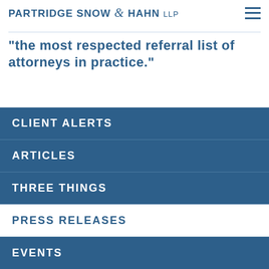PARTRIDGE SNOW & HAHN LLP
"the most respected referral list of attorneys in practice."
CLIENT ALERTS
ARTICLES
THREE THINGS
PRESS RELEASES
EVENTS